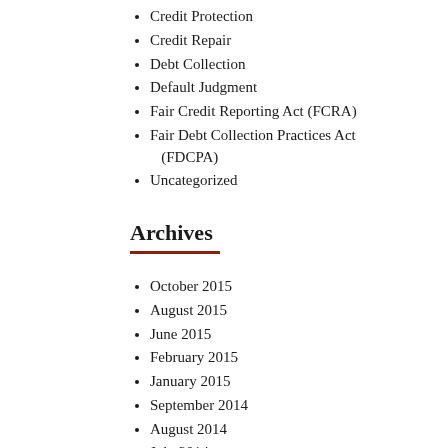Credit Protection
Credit Repair
Debt Collection
Default Judgment
Fair Credit Reporting Act (FCRA)
Fair Debt Collection Practices Act (FDCPA)
Uncategorized
Archives
October 2015
August 2015
June 2015
February 2015
January 2015
September 2014
August 2014
July 2014
May 2014